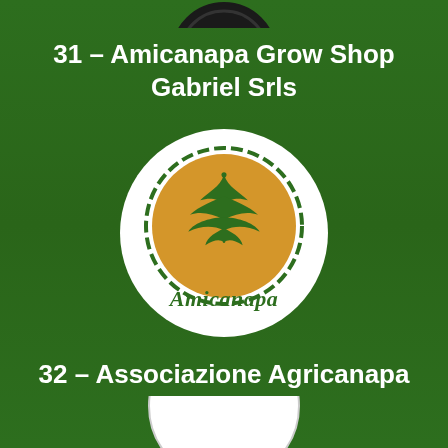[Figure (logo): Partial view of a logo at top center, showing a dark/black circular logo partially cut off at top of page]
31 – Amicanapa Grow Shop Gabriel Srls
[Figure (logo): Amicanapa logo: white circle with a gold/orange circular badge containing a green cannabis leaf illustration, with scalloped green border around the badge, and italic script text 'Amicanapa' in green below the leaf within the circle]
32 – Associazione Agricanapa
[Figure (logo): Partial view of a circular logo at bottom center, partially cut off at bottom of page, appears white/light colored]